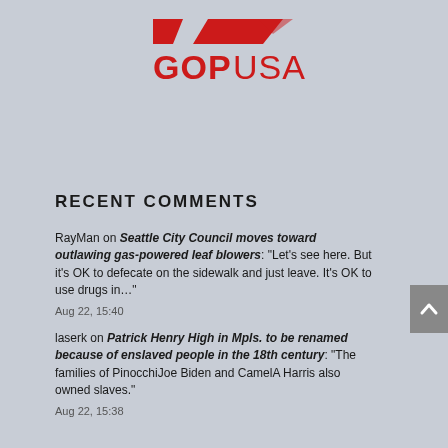[Figure (logo): GOPUSA logo with red elephant symbol and bold red text]
RECENT COMMENTS
RayMan on Seattle City Council moves toward outlawing gas-powered leaf blowers: “Let’s see here. But it’s OK to defecate on the sidewalk and just leave. It’s OK to use drugs in…”
Aug 22, 15:40
laserk on Patrick Henry High in Mpls. to be renamed because of enslaved people in the 18th century: “The families of PinocchiJoe Biden and CamelA Harris also owned slaves.”
Aug 22, 15:38